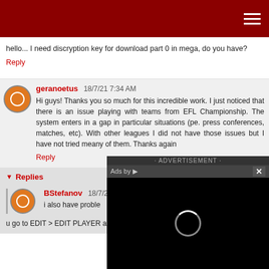hello... I need discryption key for download part 0 in mega, do you have?
Reply
geranoetus 18/7/21 7:34 AM
Hi guys! Thanks you so much for this incredible work. I just noticed that there is an issue playing with teams from EFL Championship. The system enters in a gap in particular situations (pe. press conferences, matches, etc). With other leagues I did not have those issues but I have not tried meany of them. Thanks again
Reply
Replies
BStefanov 18/7/21
i also have proble
go to EDIT > EDIT PLAYER and pick some player